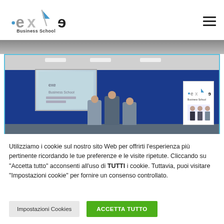[Figure (logo): exe Business School logo with stylized arrow and reversed 'e' letterform]
[Figure (photo): Classroom or seminar room with blue wall, projection screen showing exe content, people standing near screen, exe banner on right side]
Utilizziamo i cookie sul nostro sito Web per offrirti l'esperienza più pertinente ricordando le tue preferenze e le visite ripetute. Cliccando su "Accetta tutto" acconsenti all'uso di TUTTI i cookie. Tuttavia, puoi visitare "Impostazioni cookie" per fornire un consenso controllato.
Impostazioni Cookies
ACCETTA TUTTO